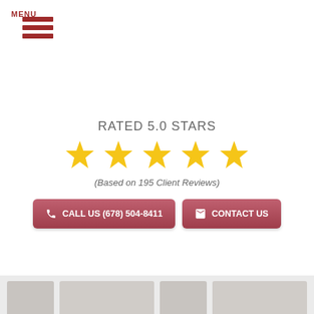MENU
RATED 5.0 STARS
[Figure (other): Five gold stars rating display]
(Based on 195 Client Reviews)
CALL US (678) 504-8411
CONTACT US